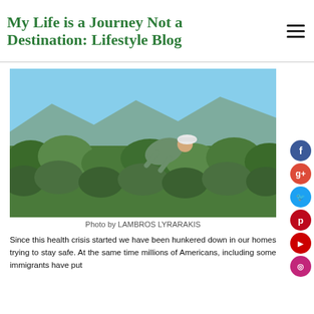My Life is a Journey Not a Destination: Lifestyle Blog
[Figure (photo): A person wearing a white cap and green shirt bent over working among dense green vineyard leaves under a clear blue sky.]
Photo by LAMBROS LYRARAKIS
Since this health crisis started we have been hunkered down in our homes trying to stay safe. At the same time millions of Americans, including some immigrants have put